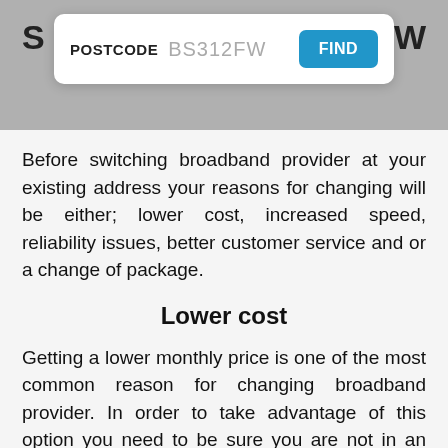[Figure (screenshot): Postcode search widget with label 'POSTCODE', placeholder text 'BS312FW', and a blue 'FIND' button, displayed on a gray background with partial title letters visible.]
Before switching broadband provider at your existing address your reasons for changing will be either; lower cost, increased speed, reliability issues, better customer service and or a change of package.
Lower cost
Getting a lower monthly price is one of the most common reason for changing broadband provider. In order to take advantage of this option you need to be sure you are not in an existing contract. If you are out of contract, you have two options to try and reduce the monthly cost of your broadband, speak to the retentions department of your current